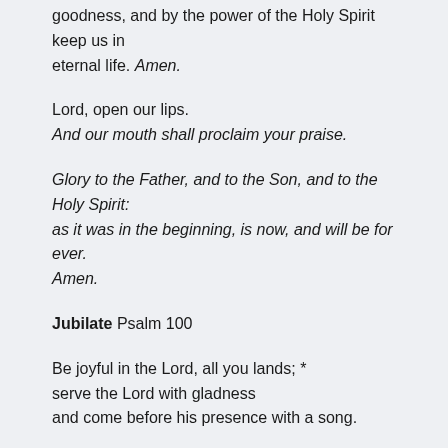goodness, and by the power of the Holy Spirit keep us in eternal life. Amen.
Lord, open our lips.
And our mouth shall proclaim your praise.
Glory to the Father, and to the Son, and to the Holy Spirit: as it was in the beginning, is now, and will be for ever. Amen.
Jubilate Psalm 100
Be joyful in the Lord, all you lands; *
serve the Lord with gladness
and come before his presence with a song.
Know this: The Lord himself is God; *
he himself has made us, and we are his;
we are his people and the sheep of his pasture.